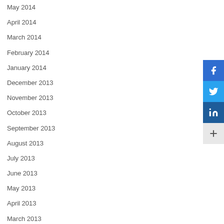May 2014
April 2014
March 2014
February 2014
January 2014
December 2013
November 2013
October 2013
September 2013
August 2013
July 2013
June 2013
May 2013
April 2013
March 2013
February 2013
[Figure (screenshot): Social sharing buttons: Facebook (blue), Twitter (light blue), LinkedIn (dark blue), and a More (+) button (grey)]